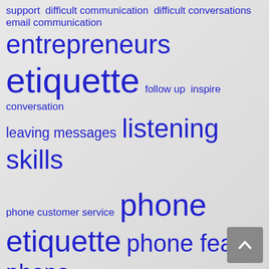[Figure (infographic): Word cloud with blue tags on grey background. Terms include: support, difficult communication, difficult conversations, email communication, entrepreneurs, etiquette, follow up, inspire conversation, leaving messages, listening skills, phone customer service, phone etiquette, phone fear, phone phobia, phone sales, phone sales training, prospecting, sales, sales calls, sales process, sales skills, sales strategy, sales success, sales training, selling by phone, small business, storyfinding, texting, voicemail. Term sizes vary to indicate frequency/importance.]